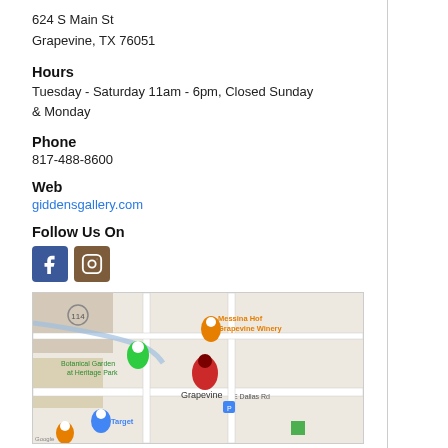624 S Main St
Grapevine, TX 76051
Hours
Tuesday - Saturday 11am - 6pm, Closed Sunday & Monday
Phone
817-488-8600
Web
giddensgallery.com
Follow Us On
[Figure (other): Facebook and Instagram social media icon buttons]
[Figure (map): Google Maps view of Grapevine, TX area showing location near 624 S Main St, with markers for Messina Hof Grapevine Winery, Botanical Garden at Heritage Park, Target, and a red pin at Grapevine location. E Dallas Rd visible.]